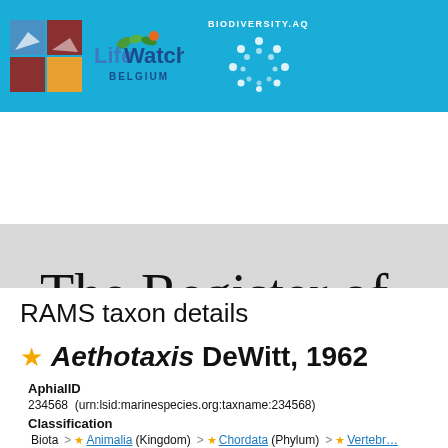[Figure (logo): LifeWatch Belgium and Biodiversity.aq header banner with logos on blue background]
The Register of
Introduction | Species lists | Search taxa | Taxon tree | Literat…
RAMS taxon details
★ Aethotaxis DeWitt, 1962
AphialID
234568  (urn:lsid:marinespecies.org:taxname:234568)
Classification
Biota > ★ Animalia (Kingdom) > ★ Chordata (Phylum) > ★ Vertebr…